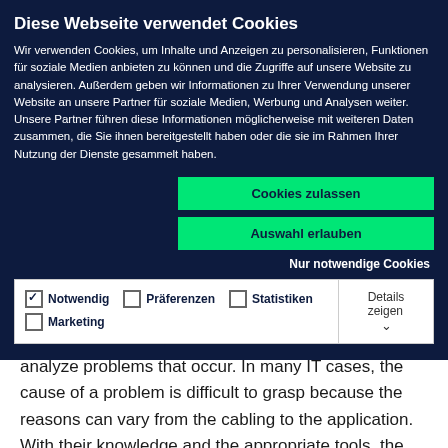Diese Webseite verwendet Cookies
Wir verwenden Cookies, um Inhalte und Anzeigen zu personalisieren, Funktionen für soziale Medien anbieten zu können und die Zugriffe auf unsere Website zu analysieren. Außerdem geben wir Informationen zu Ihrer Verwendung unserer Website an unsere Partner für soziale Medien, Werbung und Analysen weiter. Unsere Partner führen diese Informationen möglicherweise mit weiteren Daten zusammen, die Sie ihnen bereitgestellt haben oder die sie im Rahmen Ihrer Nutzung der Dienste gesammelt haben.
Cookies zulassen
Auswahl erlauben
Nur notwendige Cookies
Notwendig  Präferenzen  Statistiken  Marketing  Details zeigen
analyze problems that occur. In many IT cases, the cause of a problem is difficult to grasp because the reasons can vary from the cabling to the application. With their knowledge and the appropriate tools, the technical experts at Telonic can help customers to precisely identify the root cause of a problem.